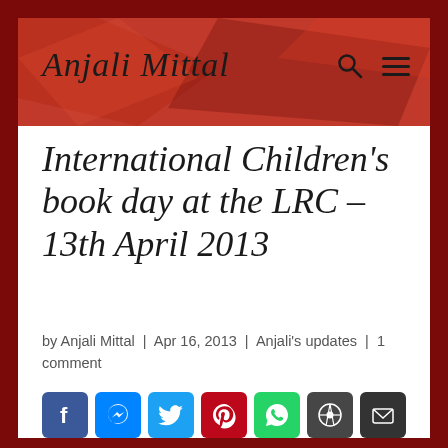Anjali Mittal
International Children's book day at the LRC – 13th April 2013
by Anjali Mittal | Apr 16, 2013 | Anjali's updates | 1 comment
[Figure (other): Social media share icons: Facebook, Messenger, Twitter, Pinterest, WhatsApp, WordPress, Email, RSS, Share]